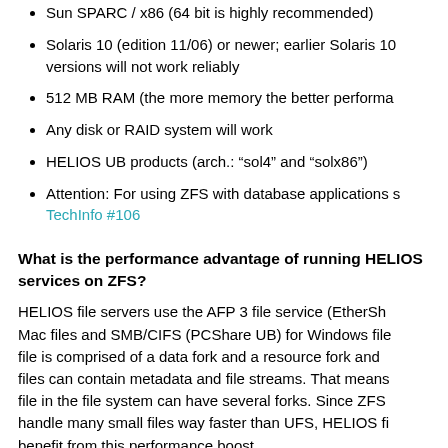Sun SPARC / x86 (64 bit is highly recommended)
Solaris 10 (edition 11/06) or newer; earlier Solaris 10 versions will not work reliably
512 MB RAM (the more memory the better performance)
Any disk or RAID system will work
HELIOS UB products (arch.: “sol4” and “solx86”)
Attention: For using ZFS with database applications s… TechInfo #106
What is the performance advantage of running HELIOS services on ZFS?
HELIOS file servers use the AFP 3 file service (EtherSh… Mac files and SMB/CIFS (PCShare UB) for Windows fil… file is comprised of a data fork and a resource fork and … files can contain metadata and file streams. That means… file in the file system can have several forks. Since ZFS handle many small files way faster than UFS, HELIOS f… benefit from this performance boost.